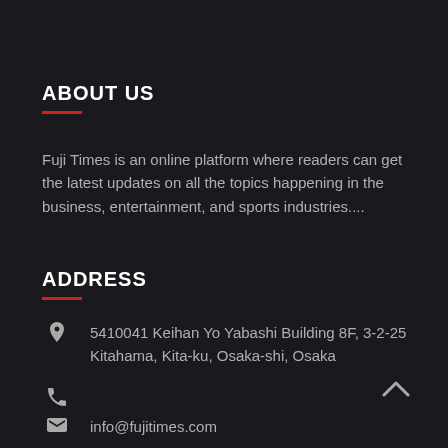ABOUT US
Fuji Times is an online platform where readers can get the latest updates on all the topics happening in the business, entertainment, and sports industries....
ADDRESS
5410041 Keihan Yo Yabashi Building 8F, 3-2-25 Kitahama, Kita-ku, Osaka-shi, Osaka
info@fujitimes.com